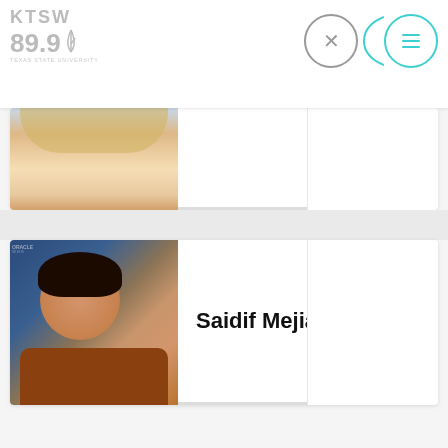KTSW 89.9
[Figure (photo): Partially visible photo of a blonde person (cropped at top)]
[Figure (photo): Photo of Saidif Mejia, a young man in a brown shirt]
Saidif Mejia
[Figure (photo): Photo of Dan Schumacher, a man with glasses and a black shirt]
Dan Schumacher
ktswwebmaster@txstate.edu
ktsw_899
KTSW 89.9